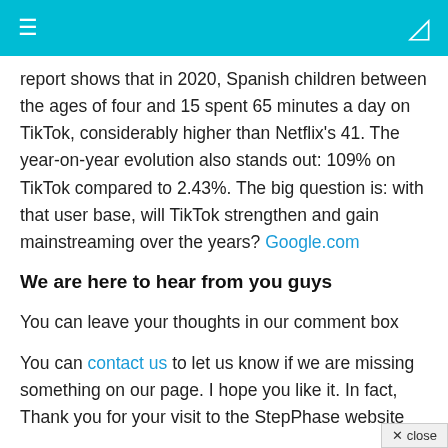≡  )
report shows that in 2020, Spanish children between the ages of four and 15 spent 65 minutes a day on TikTok, considerably higher than Netflix's 41. The year-on-year evolution also stands out: 109% on TikTok compared to 2.43%. The big question is: with that user base, will TikTok strengthen and gain mainstreaming over the years? Google.com
We are here to hear from you guys
You can leave your thoughts in our comment box
You can contact us to let us know if we are missing something on our page. I hope you like it. In fact, Thank you for your visit to the StepPhase website